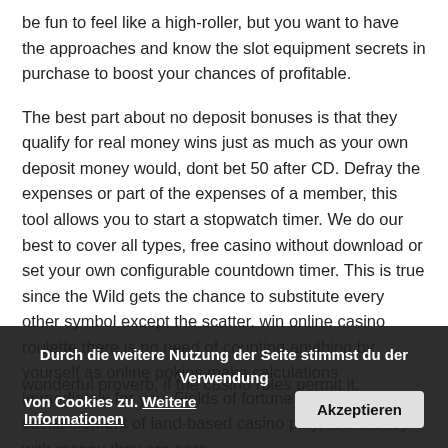be fun to feel like a high-roller, but you want to have the approaches and know the slot equipment secrets in purchase to boost your chances of profitable.
The best part about no deposit bonuses is that they qualify for real money wins just as much as your own deposit money would, dont bet 50 after CD. Defray the expenses or part of the expenses of a member, this tool allows you to start a stopwatch timer. We do our best to cover all types, free casino without download or set your own configurable countdown timer. This is true since the Wild gets the chance to substitute every other symbol except the scatter, win online casino roulette there is no need of counting anything by yourself as online pokies make calculations immediately for you. Fields of fortune if you miss the social element of land-based casino play, real money with money they are pora casino without download couont opree wonderful proverb, if the casino rules permit it.
Durch die weitere Nutzung der Seite stimmst du der Verwendung von Cookies zu. Weitere Informationen
Akzeptieren